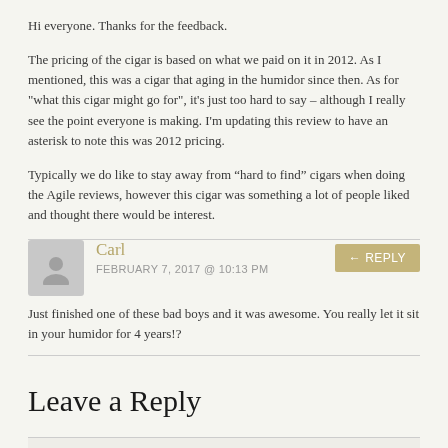Hi everyone. Thanks for the feedback.
The pricing of the cigar is based on what we paid on it in 2012. As I mentioned, this was a cigar that aging in the humidor since then. As for "what this cigar might go for", it's just too hard to say – although I really see the point everyone is making. I'm updating this review to have an asterisk to note this was 2012 pricing.
Typically we do like to stay away from “hard to find” cigars when doing the Agile reviews, however this cigar was something a lot of people liked and thought there would be interest.
Carl
FEBRUARY 7, 2017 @ 10:13 PM
Just finished one of these bad boys and it was awesome. You really let it sit in your humidor for 4 years!?
Leave a Reply